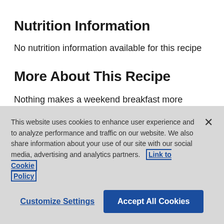Nutrition Information
No nutrition information available for this recipe
More About This Recipe
Nothing makes a weekend breakfast more exciting than shaking it up with some Mimosas in Champagne
This website uses cookies to enhance user experience and to analyze performance and traffic on our website. We also share information about your use of our site with our social media, advertising and analytics partners. Link to Cookie Policy
Customize Settings
Accept All Cookies